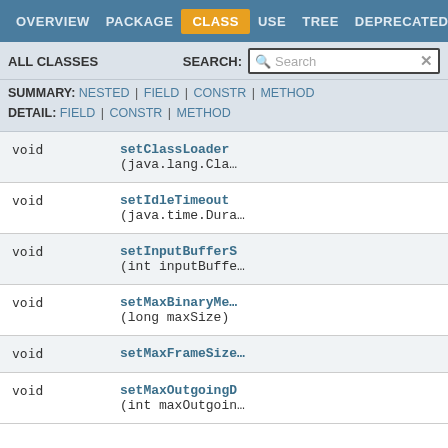OVERVIEW  PACKAGE  CLASS  USE  TREE  DEPRECATED
ALL CLASSES   SEARCH: [Search]
SUMMARY: NESTED | FIELD | CONSTR | METHOD
DETAIL: FIELD | CONSTR | METHOD
| Type | Method |
| --- | --- |
| void | setClassLoader(
(java.lang.Cla... |
| void | setIdleTimeout
(java.time.Dura... |
| void | setInputBuffer$
(int inputBuffe... |
| void | setMaxBinaryMes
(long maxSize) |
| void | setMaxFrameSize... |
| void | setMaxOutgoingD
(int maxOutgoin... |